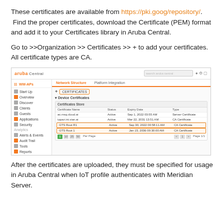These certificates are available from https://pki.goog/repository/. Find the proper certificates, download the Certificate (PEM) format and add it to your Certificates library in Aruba Central.
Go to >>Organization >> Certificates >> + to add your certificates. All certificate types are CA.
[Figure (screenshot): Screenshot of Aruba Central UI showing the Certificates section under Organization, with a table listing device certificates including two highlighted rows (CA Certificates) and pagination controls.]
After the certificates are uploaded, they must be specified for usage in Aruba Central when IoT profile authenticates with Meridian Server.